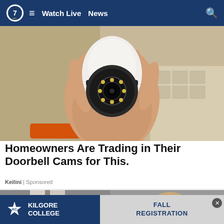Watch Live  News
[Figure (photo): A hand holding a small white PTZ/dome security camera with a circular lens and LED lights, with cardboard boxes in the background]
Homeowners Are Trading in Their Doorbell Cams for This.
Keilini | Sponsored
[Figure (photo): Partial view of a second advertisement image showing legs/lower body on a street]
[Figure (other): Kilgore College advertisement banner with logo on blue background and FALL REGISTRATION text on grey background]